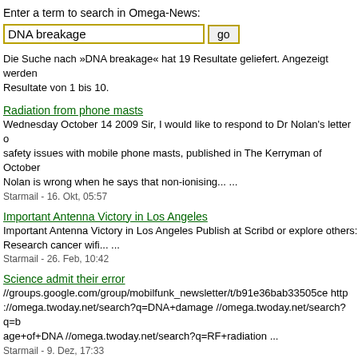Enter a term to search in Omega-News:
DNA breakage  go
Die Suche nach »DNA breakage« hat 19 Resultate geliefert. Angezeigt werden Resultate von 1 bis 10.
Radiation from phone masts
Wednesday October 14 2009 Sir, I would like to respond to Dr Nolan's letter on safety issues with mobile phone masts, published in The Kerryman of October Nolan is wrong when he says that non-ionising... ...
Starmail - 16. Okt, 05:57
Important Antenna Victory in Los Angeles
Important Antenna Victory in Los Angeles Publish at Scribd or explore others: Research cancer wifi... ...
Starmail - 26. Feb, 10:42
Science admit their error
//groups.google.com/group/mobilfunk_newsletter/t/b91e36bab33505ce http ://omega.twoday.net/search?q=DNA+damage //omega.twoday.net/search?q=b age+of+DNA //omega.twoday.net/search?q=RF+radiation ...
Starmail - 9. Dez, 17:33
EMF/EMR from Wireless Networks can lower Melatonin - Wireless broadband Internet dangers
//www.buergerwelle.de/pdf/interesting_email_emf_emr.htm -------- Would you f to masts list please? Thanks Gary Subject: Wireless broadband Internet dange